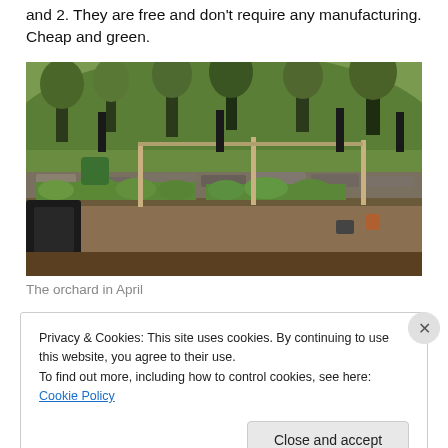and 2. They are free and don't require any manufacturing. Cheap and green.
[Figure (photo): Photograph of a garden orchard in April showing raised garden beds with green plants, wooden stakes, rocks, and trees in the background on a grassy hillside.]
The orchard in April
Privacy & Cookies: This site uses cookies. By continuing to use this website, you agree to their use.
To find out more, including how to control cookies, see here: Cookie Policy
Close and accept